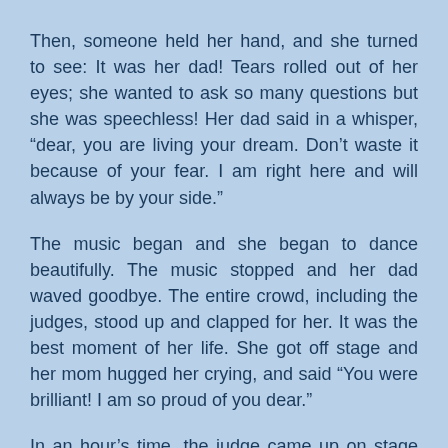Then, someone held her hand, and she turned to see: It was her dad! Tears rolled out of her eyes; she wanted to ask so many questions but she was speechless! Her dad said in a whisper, “dear, you are living your dream. Don’t waste it because of your fear. I am right here and will always be by your side.”
The music began and she began to dance beautifully. The music stopped and her dad waved goodbye. The entire crowd, including the judges, stood up and clapped for her. It was the best moment of her life. She got off stage and her mom hugged her crying, and said “You were brilliant! I am so proud of you dear.”
In an hour’s time, the judge came up on stage and announced. “There are 3 selected from 500 people, the first Roy McGuire, Second Lauren Zeigler” everyone applauded, “and the 3rd winner is an inspiration for all of us, with a wooden leg she killed the dance floor, she is